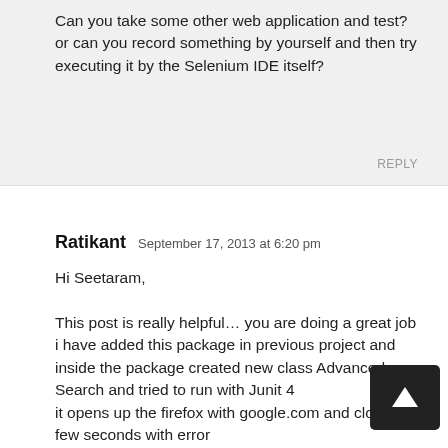Can you take some other web application and test? or can you record something by yourself and then try executing it by the Selenium IDE itself?
REPLY
Ratikant  September 17, 2013 at 6:20 pm
Hi Seetaram,

This post is really helpful… you are doing a great job
i have added this package in previous project and inside the package created new class Advanced Search and tried to run with Junit 4
it opens up the firefox with google.com and closes in few seconds with error com.thoughtworks.selenium.SeleniumException: ERROR: Element num not found at com.thoughtworks.selenium.HttpCommandProcessor.throwAssertionFailureExceptionOrError(HttpCommandProcessor.java:112)